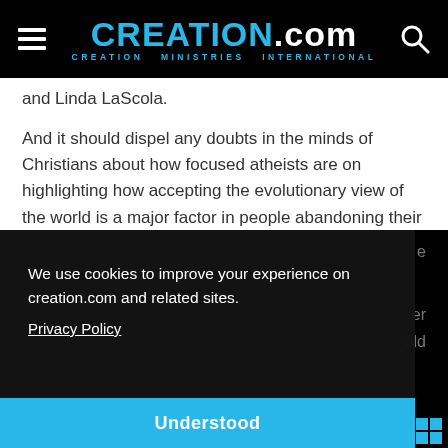CREATION.com — CREATION MINISTRIES INTERNATIONAL
and Linda LaScola.
And it should dispel any doubts in the minds of Christians about how focused atheists are on highlighting how accepting the evolutionary view of the world is a major factor in people abandoning their faith in the God of the Bible.
We use cookies to improve your experience on creation.com and related sites.
Privacy Policy
Understood